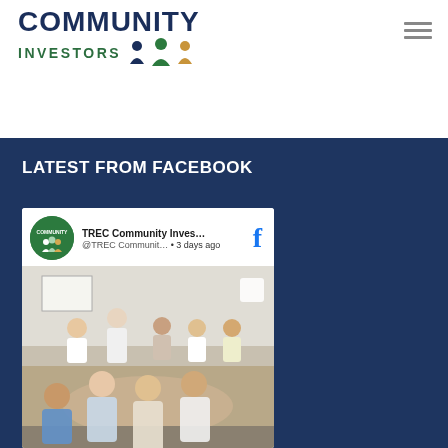[Figure (logo): TREC Community Investors logo with dark blue COMMUNITY text, green INVESTORS text, and colorful figures icon]
[Figure (screenshot): Facebook post card showing TREC Community Inves... @TREC Communit... • 3 days ago with a photo of a workshop/meeting room with people seated around tables]
LATEST FROM FACEBOOK